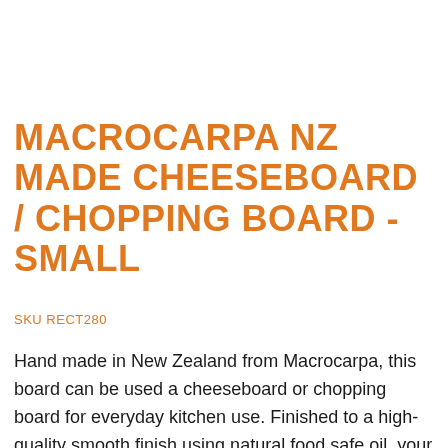MACROCARPA NZ MADE CHEESEBOARD / CHOPPING BOARD - SMALL
SKU RECT280
Hand made in New Zealand from Macrocarpa, this board can be used a cheeseboard or chopping board for everyday kitchen use. Finished to a high-quality smooth finish using natural food safe oil, your board will come tied with ribbon and care information (no box included). Please note that grain and colour varies slightly. (Toothpick holder shown for size purposes)